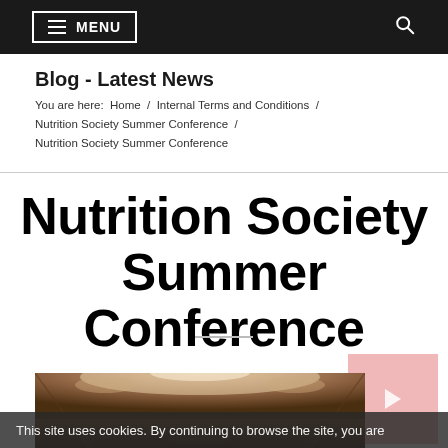MENU [hamburger] [search icon]
Blog - Latest News
You are here:  Home  /  Internal Terms and Conditions  /  Nutrition Society Summer Conference  /  Nutrition Society Summer Conference
Nutrition Society Summer Conference
[Figure (photo): Interior photo of a conference room or hall with warm amber/brown lighting, viewed from a wide angle showing ceiling lighting and room interior]
This site uses cookies. By continuing to browse the site, you are